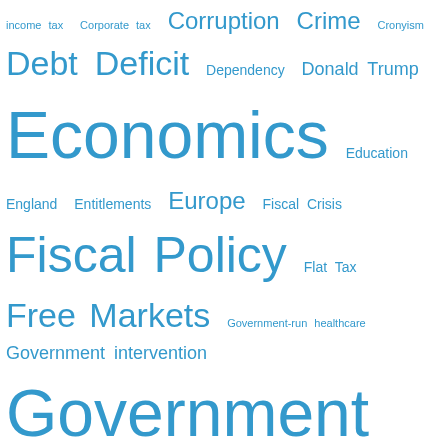[Figure (infographic): Tag cloud with political and economic terms in varying sizes in blue color. Terms include: income tax, Corporate tax, Corruption, Crime, Cronyism, Debt, Deficit, Dependency, Donald Trump, Economics, Education, England, Entitlements, Europe, Fiscal Crisis, Fiscal Policy, Flat Tax, Free Markets, Government-run healthcare, Government intervention, Government Spending, Government stupidity, Government Thuggery, Government waste, Gun control, Health Care, Health Reform, Higher Taxes, Humor, International bureaucracy, IRS, Jobs, Joe Biden, Keynesian Economics, Laffer Curve, Libertarianism, Liberty, Local government, News Appearance, Obama, Obamacare, OECD, Organization for Economic Cooperation and Development, Political Humor, and more.]